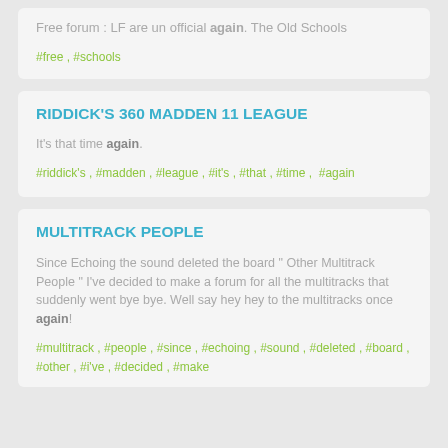Free forum : LF are un official again. The Old Schools
#free , #schools
RIDDICK'S 360 MADDEN 11 LEAGUE
It's that time again.
#riddick's , #madden , #league , #it's , #that , #time , #again
MULTITRACK PEOPLE
Since Echoing the sound deleted the board " Other Multitrack People " I've decided to make a forum for all the multitracks that suddenly went bye bye. Well say hey hey to the multitracks once again!
#multitrack , #people , #since , #echoing , #sound , #deleted , #board , #other , #i've , #decided , #make